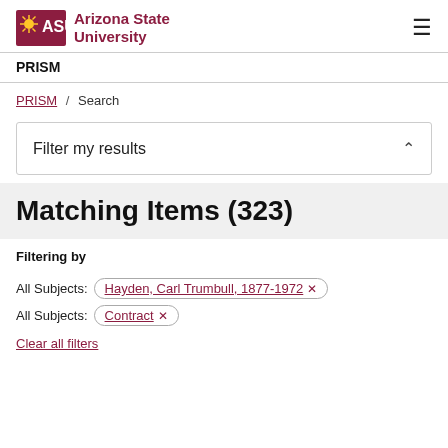[Figure (logo): Arizona State University ASU logo with maroon block letters and gold sun symbol, followed by 'Arizona State University' wordmark text]
PRISM
PRISM / Search
Filter my results
Matching Items (323)
Filtering by
All Subjects: Hayden, Carl Trumbull, 1877-1972 ✕
All Subjects: Contract ✕
Clear all filters